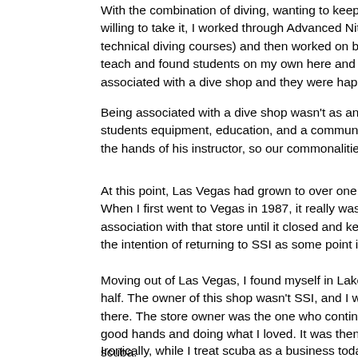With the combination of diving, wanting to keep learning, money to b willing to take it, I worked through Advanced Nitrox and Decompress technical diving courses) and then worked on becoming an instructo teach and found students on my own here and there. SSI requires th associated with a dive shop and they were happy to have me on boa
Being associated with a dive shop wasn't as an employee, rather an students equipment, education, and a community. The owner of the the hands of his instructor, so our commonalities kept me there for a
At this point, Las Vegas had grown to over one million people and w When I first went to Vegas in 1987, it really was a quiet little desert t association with that store until it closed and kept my credentials as the intention of returning to SSI as some point in the future.
Moving out of Las Vegas, I found myself in Lake Havasu where I spe half. The owner of this shop wasn't SSI, and I worked on a cross-ove there. The store owner was the one who continued my technical divi good hands and doing what I loved. It was then that I finally got to se scuba.
Ironically, while I treat scuba as a business today, this was the first ti took to run a successful dive shop. He also did it with an internet pre